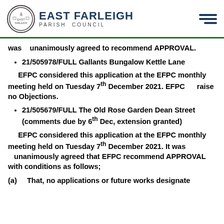East Farleigh Parish Council
was unanimously agreed to recommend APPROVAL.
21/505978/FULL Gallants Bungalow Kettle Lane
EFPC considered this application at the EFPC monthly meeting held on Tuesday 7th December 2021. EFPC raise no Objections.
21/505679/FULL The Old Rose Garden Dean Street (comments due by 6th Dec, extension granted)
EFPC considered this application at the EFPC monthly meeting held on Tuesday 7th December 2021. It was unanimously agreed that EFPC recommend APPROVAL with conditions as follows;
(a) That, no applications or future works designate